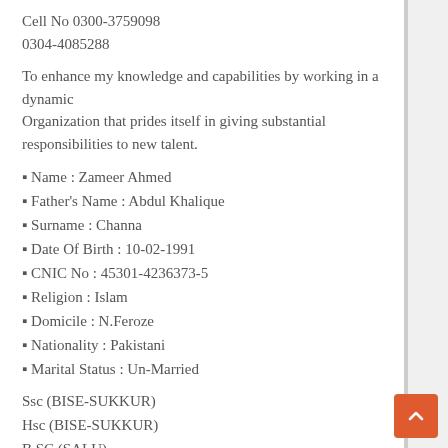Cell No 0300-3759098
0304-4085288
To enhance my knowledge and capabilities by working in a dynamic Organization that prides itself in giving substantial responsibilities to new talent.
▪ Name : Zameer Ahmed
▪ Father's Name : Abdul Khalique
▪ Surname : Channa
▪ Date Of Birth : 10-02-1991
▪ CNIC No : 45301-4236373-5
▪ Religion : Islam
▪ Domicile : N.Feroze
▪ Nationality : Pakistani
▪ Marital Status : Un-Married
Ssc (BISE-SUKKUR)
Hsc (BISE-SUKKUR)
B.SC (SALU)
MBA in Marketing and HRM (Sindh University